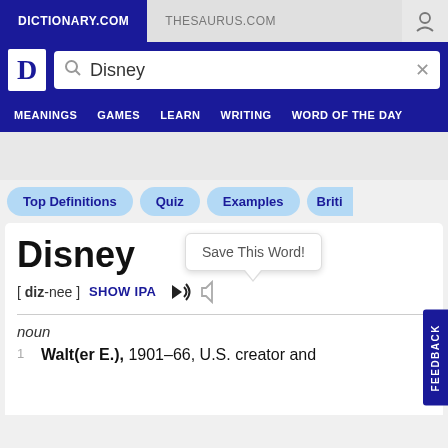DICTIONARY.COM   THESAURUS.COM
[Figure (screenshot): Dictionary.com website screenshot showing search for 'Disney' with navigation bar, pills row, definition entry with tooltip 'Save This Word!', pronunciation, and noun definition beginning with 'Walt(er E.), 1901–66, U.S. creator and']
Disney
[ diz-nee ]  SHOW IPA
noun
1  Walt(er E.), 1901–66, U.S. creator and